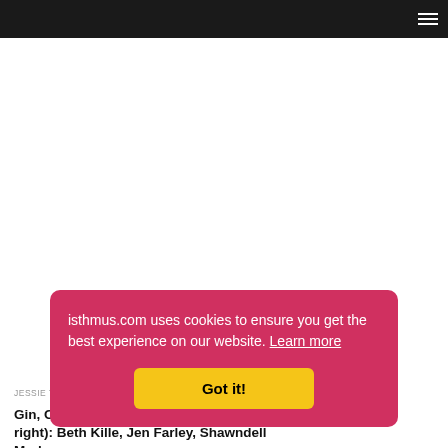[Figure (screenshot): Cookie consent banner overlay on isthmus.com website. The banner is a rounded red/pink rectangle with white text reading 'isthmus.com uses cookies to ensure you get the best experience on our website. Learn more' and a yellow 'Got it!' button.]
JESSIE TURNER
Gin, Chocolate & Bottle Rockets (left to right): Beth Kille, Jen Farley, Shawndell Marks.